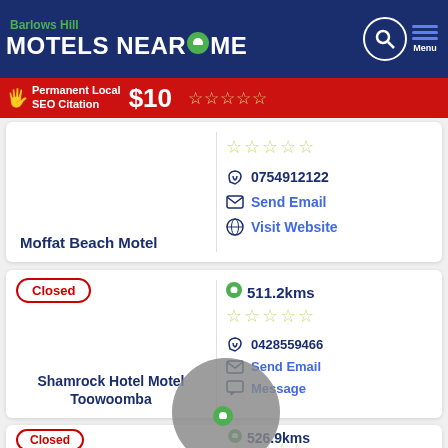Barlows Hill MOTELS NEAR ME
[Figure (infographic): Advertisement banner: Permanent Local SEO Citation $10]
Moffat Beach Motel — 0754912122, Send Email, Visit Website
Closed — Shamrock Hotel Motel Toowoomba — 511.2kms — 0428559466, Send Email, Message
Closed — 526.9kms